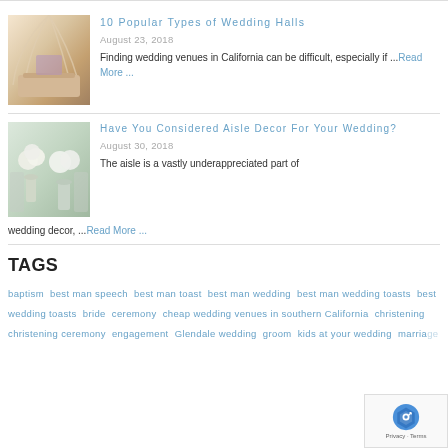[Figure (photo): Wedding hall interior with draped fabric ceiling and decorated table]
10 Popular Types of Wedding Halls
August 23, 2018
Finding wedding venues in California can be difficult, especially if ...Read More ...
[Figure (photo): Aisle decoration with white flowers in vases]
Have You Considered Aisle Decor For Your Wedding?
August 30, 2018
The aisle is a vastly underappreciated part of wedding decor, ...Read More ...
TAGS
baptism  best man speech  best man toast  best man wedding  best man wedding toasts  best wedding toasts  bride  ceremony  cheap wedding venues in southern California  christening  christening ceremony  engagement  Glendale wedding  groom  kids at your wedding  marriage